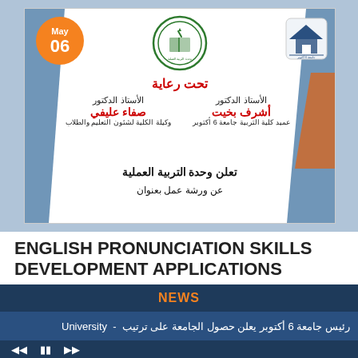[Figure (illustration): Arabic educational event announcement card with logos, sponsor names, and Arabic text for a practical education unit workshop on English pronunciation skills. Includes date badge showing May 06, center logo with Arabic text, right university logo, and blue diagonal design elements.]
ENGLISH PRONUNCIATION SKILLS DEVELOPMENT APPLICATIONS
English pronunciation skills development applications
NEWS
رئيس جامعة 6 أكتوبر يعلن حصول الجامعة على ترتيب - University